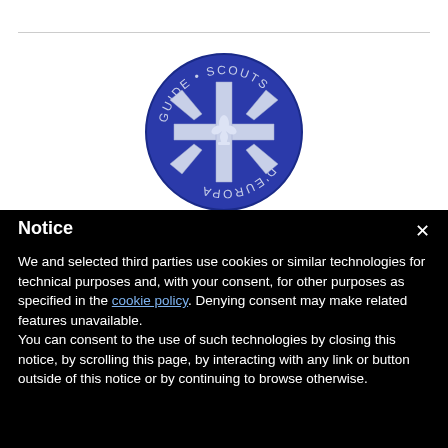[Figure (logo): Guide Scouts d'Europa circular blue badge with white fleur-de-lis and cross design]
Notice
We and selected third parties use cookies or similar technologies for technical purposes and, with your consent, for other purposes as specified in the cookie policy. Denying consent may make related features unavailable.
You can consent to the use of such technologies by closing this notice, by scrolling this page, by interacting with any link or button outside of this notice or by continuing to browse otherwise.